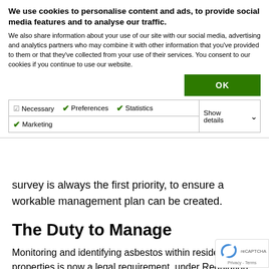We use cookies to personalise content and ads, to provide social media features and to analyse our traffic.
We also share information about your use of our site with our social media, advertising and analytics partners who may combine it with other information that you've provided to them or that they've collected from your use of their services. You consent to our cookies if you continue to use our website.
| Necessary | Preferences | Statistics | Show details |
| Marketing |  |  |  |
survey is always the first priority, to ensure a workable management plan can be created.
The Duty to Manage
Monitoring and identifying asbestos within residential properties is now a legal requirement, under Regulation 4, CAR 2012, 'The Duty to Manage'. B...